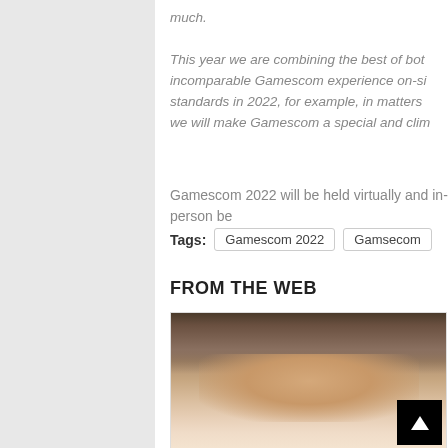much.
This year we are combining the best of both worlds, offering an incomparable Gamescom experience on-site, setting new standards in 2022, for example, in matters of sustainability – we will make Gamescom a special and cli...
Gamescom 2022 will be held virtually and in-person be...
Tags: Gamescom 2022  Gamsecom
FROM THE WEB
[Figure (photo): Close-up face/head of a person with brown hair, partially cropped. A black button with an upward arrow is visible in the lower right of the photo.]